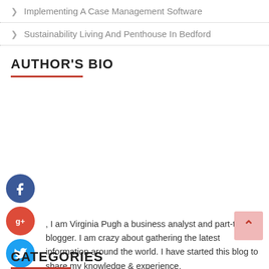> Implementing A Case Management Software
> Sustainability Living And Penthouse In Bedford
AUTHOR'S BIO
[Figure (illustration): Social media share icons: Facebook (dark blue circle with f), Google+ (red circle with g+), Twitter (blue circle with bird), plus/add button (dark circle with +)]
I am Virginia Pugh a business analyst and part-time blogger. I am crazy about gathering the latest information around the world. I have started this blog to share my knowledge & experience.
CATEGORIES